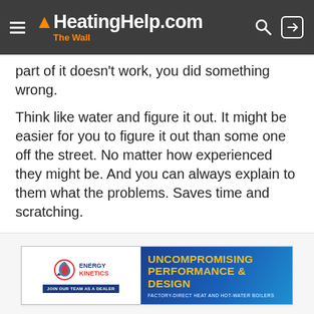HeatingHelp.com — The Wall
part of it doesn't work, you did something wrong.
Think like water and figure it out. It might be easier for you to figure it out than some one off the street. No matter how experienced they might be. And you can always explain to them what the problems. Saves time and scratching.
[Figure (advertisement): Energy Kinetics advertisement banner: left side shows Energy Kinetics logo with tagline 'JOIN OUR TEAM AS A DEALER' on white background; right side shows blue gradient background with yellow bold text 'UNCOMPROMISING PERFORMANCE & DESIGN' and white text 'FACTORY-DIRECT HEAT AND HOT-WATER BOILERS']
Snowmelt   Member   Posts: 1,335
January 2015